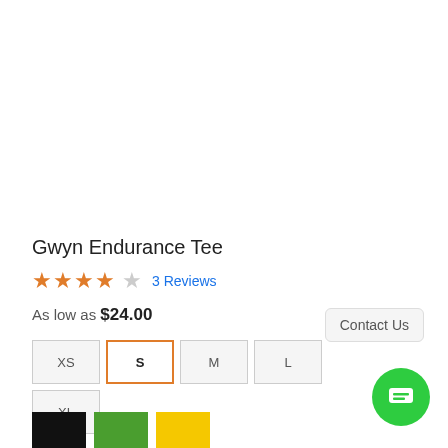Gwyn Endurance Tee
★★★★☆ 3 Reviews
As low as $24.00
XS S M L XL — size selector
[Figure (other): Three color swatches: black, green, yellow]
Contact Us
[Figure (other): Green circle chat button with message icon]